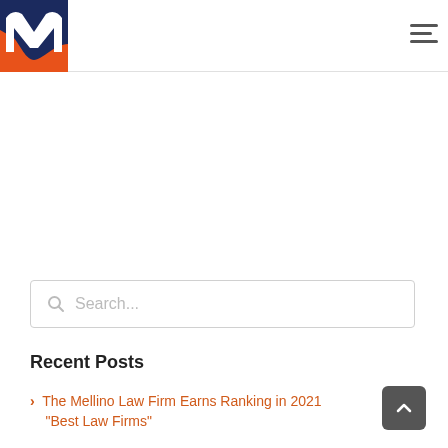[Figure (logo): Mellino Law Firm logo — dark navy blue square with white and orange stylized M letterform]
[Figure (other): Hamburger menu icon — three horizontal dark gray lines]
Search...
Recent Posts
> The Mellino Law Firm Earns Ranking in 2021 "Best Law Firms"